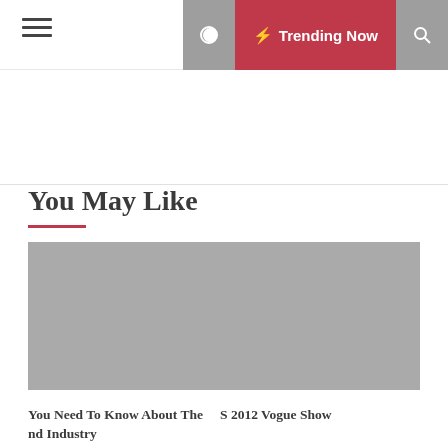Trending Now
You May Like
[Figure (photo): Gray placeholder image for article thumbnail]
You Need To Know About The nd Industry
[Figure (photo): Fashion photo thumbnail showing figures in red and blue outfits, S 2012 Vogue Show]
S 2012 Vogue Show